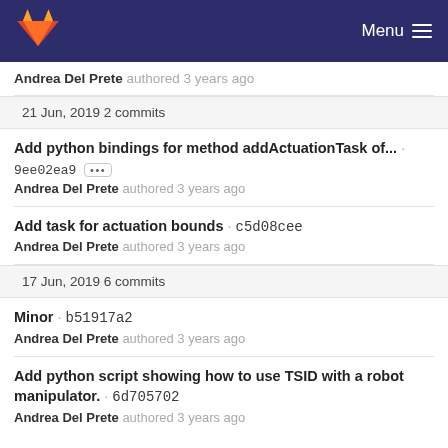GitLab Menu
Andrea Del Prete authored 3 years ago
21 Jun, 2019 2 commits
Add python bindings for method addActuationTask of... · 9ee02ea9 ··· Andrea Del Prete authored 3 years ago
Add task for actuation bounds · c5d08cee
Andrea Del Prete authored 3 years ago
17 Jun, 2019 6 commits
Minor · b51917a2
Andrea Del Prete authored 3 years ago
Add python script showing how to use TSID with a robot manipulator. · 6d705702
Andrea Del Prete authored 3 years ago